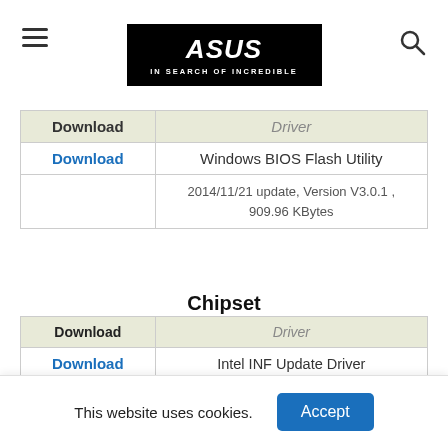[Figure (logo): ASUS logo — black rectangle with ASUS brand name and 'IN SEARCH OF INCREDIBLE' tagline in white]
| Download | Driver |
| --- | --- |
| Download | Windows BIOS Flash Utility |
|  | 2014/11/21 update, Version V3.0.1 , 909.96 KBytes |
Chipset
| Download | Driver |
| --- | --- |
| Download | Intel INF Update Driver |
|  | 2014/11/17 update, Version V10.0.22 , 2.66 MBytes |
ATK
| Download | Driver |
| --- | --- |
This website uses cookies.